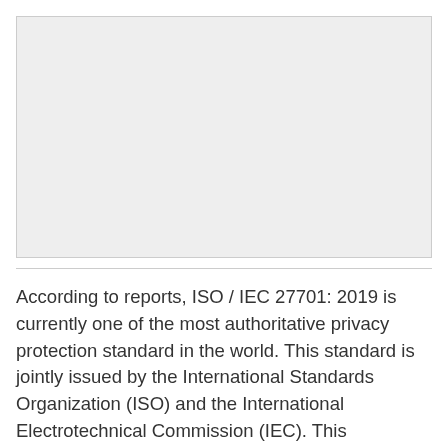[Figure (other): Blank light grey rectangular image placeholder]
According to reports, ISO / IEC 27701: 2019 is currently one of the most authoritative privacy protection standard in the world. This standard is jointly issued by the International Standards Organization (ISO) and the International Electrotechnical Commission (IEC). This certification is becoming the most